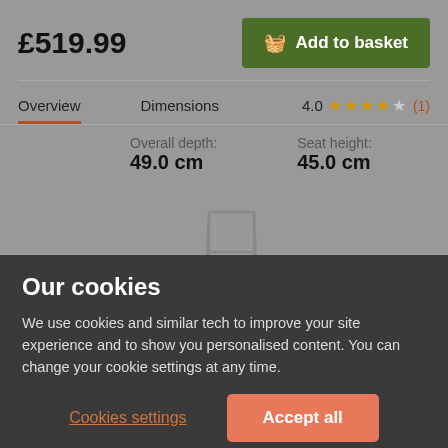£519.99
Add to basket
Overview
Dimensions
4.0 ★★★★☆ (1)
Overall depth:
49.0 cm
Seat height:
45.0 cm
[Figure (illustration): Line drawing of a bar-height chair with a red horizontal arrow indicating seat depth measurement]
Our cookies
We use cookies and similar tech to improve your site experience and to show you personalised content. You can change your cookie settings at any time.
Cookies settings
Accept all